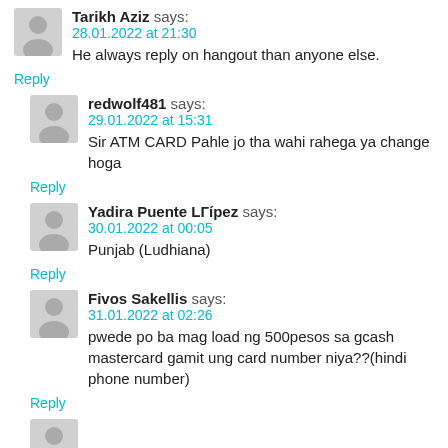Tarikh Aziz says:
28.01.2022 at 21:30
He always reply on hangout than anyone else.
Reply
redwolf481 says:
29.01.2022 at 15:31
Sir ATM CARD Pahle jo tha wahi rahega ya change hoga
Reply
Yadira Puente López says:
30.01.2022 at 00:05
Punjab (Ludhiana)
Reply
Fivos Sakellis says:
31.01.2022 at 02:26
pwede po ba mag load ng 500pesos sa gcash mastercard gamit ung card number niya??(hindi phone number)
Reply